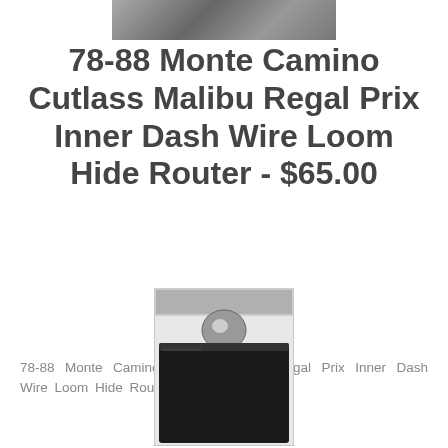[Figure (photo): Cropped top portion of a product image showing a textured surface, grayscale]
78-88 Monte Camino Cutlass Malibu Regal Prix Inner Dash Wire Loom Hide Router - $65.00
78-88 Monte Camino Cutlass Malibu Regal Prix Inner Dash Wire Loom Hide Router
[Figure (photo): Product photo of an inner dash wire loom hide router, a black rectangular plastic part with a circular component, shown in grayscale]